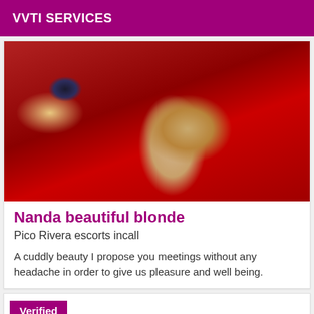VVTI SERVICES
[Figure (photo): A woman lying on a red surface wearing a dark strappy outfit, with blonde hair.]
Nanda beautiful blonde
Pico Rivera escorts incall
A cuddly beauty I propose you meetings without any headache in order to give us pleasure and well being.
Verified